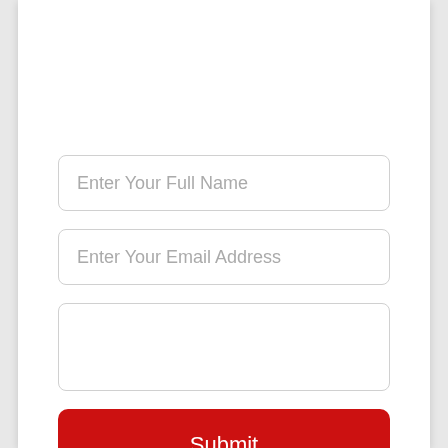Enter Your Full Name
Enter Your Email Address
Submit